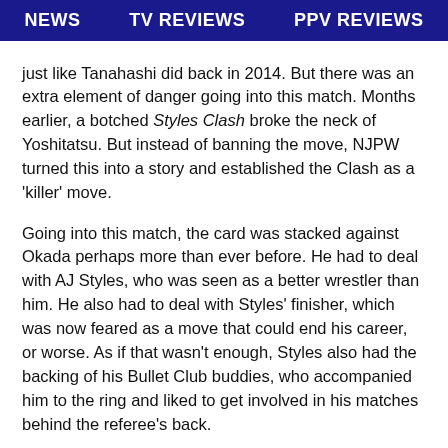NEWS   TV REVIEWS   PPV REVIEWS
just like Tanahashi did back in 2014. But there was an extra element of danger going into this match. Months earlier, a botched Styles Clash broke the neck of Yoshitatsu. But instead of banning the move, NJPW turned this into a story and established the Clash as a 'killer' move.
Going into this match, the card was stacked against Okada perhaps more than ever before. He had to deal with AJ Styles, who was seen as a better wrestler than him. He also had to deal with Styles' finisher, which was now feared as a move that could end his career, or worse. As if that wasn't enough, Styles also had the backing of his Bullet Club buddies, who accompanied him to the ring and liked to get involved in his matches behind the referee's back.